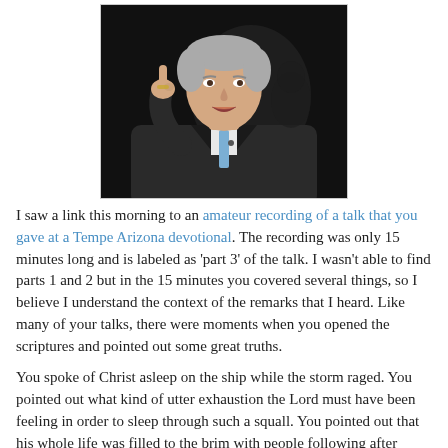[Figure (photo): A middle-aged to older white man in a dark suit and light blue tie, speaking animatedly with his right index finger raised, mouth open, photographed against a dark background.]
I saw a link this morning to an amateur recording of a talk that you gave at a Tempe Arizona devotional. The recording was only 15 minutes long and is labeled as 'part 3' of the talk. I wasn't able to find parts 1 and 2 but in the 15 minutes you covered several things, so I believe I understand the context of the remarks that I heard. Like many of your talks, there were moments when you opened the scriptures and pointed out some great truths.
You spoke of Christ asleep on the ship while the storm raged. You pointed out what kind of utter exhaustion the Lord must have been feeling in order to sleep through such a squall. You pointed out that his whole life was filled to the brim with people following after